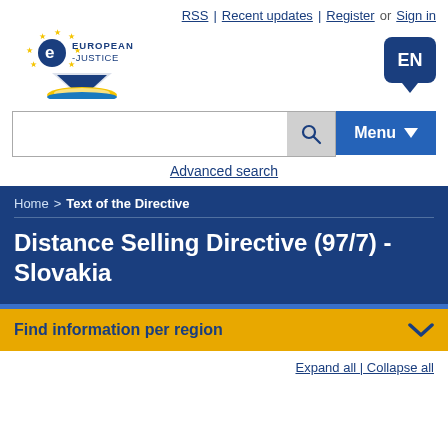RSS | Recent updates | Register or Sign in
[Figure (logo): e-Justice European Justice logo with stars and scales of justice icon]
[Figure (other): EN language selector button (speech bubble shape)]
[Figure (other): Search bar with magnifying glass icon and Menu dropdown button]
Advanced search
Home > Text of the Directive
Distance Selling Directive (97/7) - Slovakia
Find information per region
Expand all | Collapse all